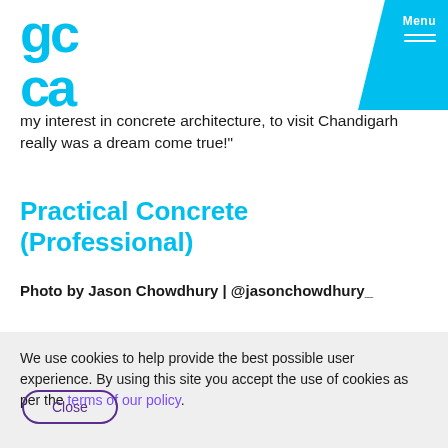gc / gca [logo] | Menu
my interest in concrete architecture, to visit Chandigarh really was a dream come true!"
Practical Concrete (Professional)
Photo by Jason Chowdhury | @jasonchowdhury_
We use cookies to help provide the best possible user experience. By using this site you accept the use of cookies as per the terms of our policy.
Close